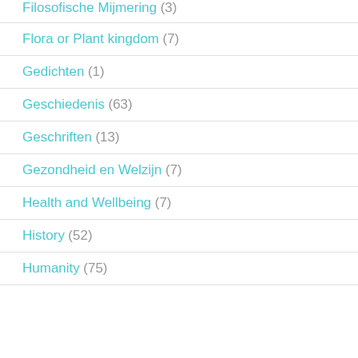Filosofische Mijmering (3)
Flora or Plant kingdom (7)
Gedichten (1)
Geschiedenis (63)
Geschriften (13)
Gezondheid en Welzijn (7)
Health and Wellbeing (7)
History (52)
Humanity (75)